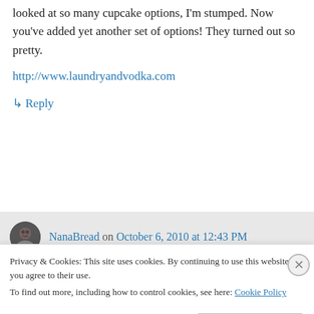My girlfriend and I planned to do cupcakes. I have looked at so many cupcake options, I'm stumped. Now you've added yet another set of options! They turned out so pretty.
http://www.laundryandvodka.com
↳ Reply
NanaBread on October 6, 2010 at 12:43 PM
I highly recommend the coconut cupcakes.
Privacy & Cookies: This site uses cookies. By continuing to use this website, you agree to their use.
To find out more, including how to control cookies, see here: Cookie Policy
Close and accept